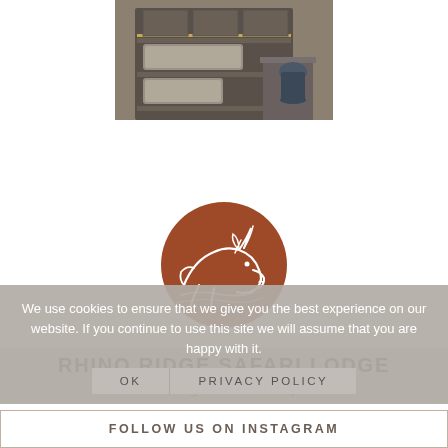[Figure (photo): Top portion of a luxury lodge interior showing shelving unit with cushions and a dark blue/grey vase on a side table]
[Figure (logo): Rhino Ridge Safari Lodge circular logo — brown/terracotta circle with white line-art illustration of a rhinoceros head in profile]
We use cookies to ensure that we give you the best experience on our website. If you continue to use this site we will assume that you are happy with it.
OK   PRIVACY POLICY
RHINO RIDGE SAFARI LODGE
The oldest game reserve in Africa
FOLLOW US ON INSTAGRAM